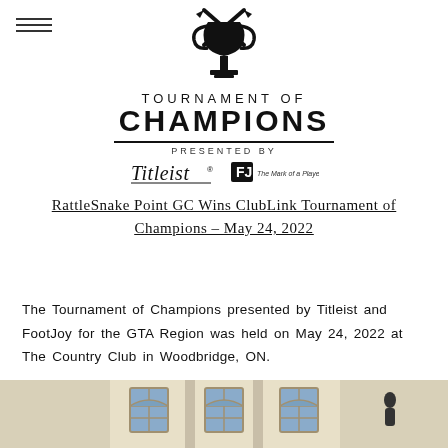[Figure (logo): Tournament of Champions logo featuring a trophy with crossed arrows, the text 'TOURNAMENT OF' in small caps and 'CHAMPIONS' in large bold letters, a horizontal divider, 'PRESENTED BY' text, and Titleist and FootJoy sponsor logos]
RattleSnake Point GC Wins ClubLink Tournament of Champions – May 24, 2022
The Tournament of Champions presented by Titleist and FootJoy for the GTA Region was held on May 24, 2022 at The Country Club in Woodbridge, ON.
[Figure (photo): Partial photo of a building exterior showing arched windows with a classical architectural style, cropped at the bottom of the page]